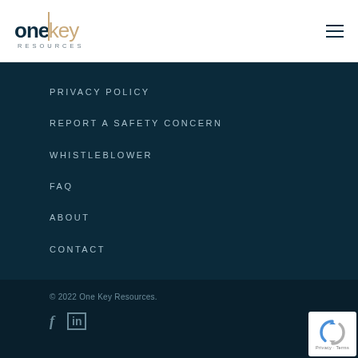[Figure (logo): One Key Resources logo with stylized text and divider line]
PRIVACY POLICY
REPORT A SAFETY CONCERN
WHISTLEBLOWER
FAQ
ABOUT
CONTACT
© 2022 One Key Resources.
[Figure (logo): reCAPTCHA badge with Privacy and Terms links]